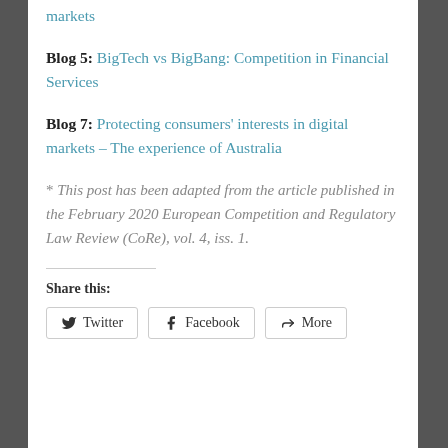markets
Blog 5: BigTech vs BigBang: Competition in Financial Services
Blog 7: Protecting consumers' interests in digital markets – The experience of Australia
* This post has been adapted from the article published in the February 2020 European Competition and Regulatory Law Review (CoRe), vol. 4, iss. 1.
Share this:
Twitter  Facebook  More